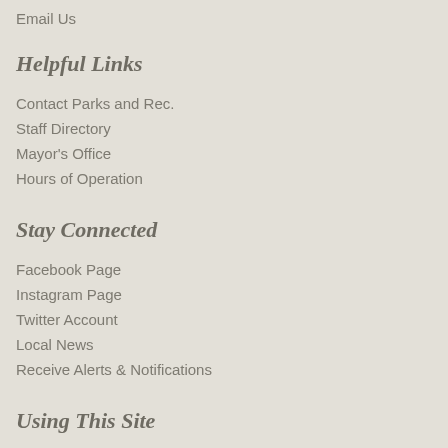Email Us
Helpful Links
Contact Parks and Rec.
Staff Directory
Mayor's Office
Hours of Operation
Stay Connected
Facebook Page
Instagram Page
Twitter Account
Local News
Receive Alerts & Notifications
Using This Site
Home